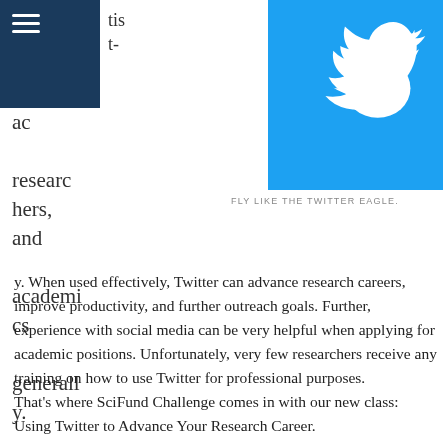[Figure (logo): Twitter bird logo on blue background]
FLY LIKE THE TWITTER EAGLE.
tis t- ac researchers, and academics generally. When used effectively, Twitter can advance research careers, improve productivity, and further outreach goals. Further, experience with social media can be very helpful when applying for academic positions. Unfortunately, very few researchers receive any training on how to use Twitter for professional purposes.
That's where SciFund Challenge comes in with our new class: Using Twitter to Advance Your Research Career.